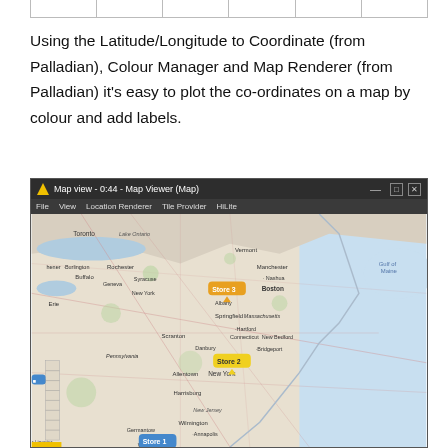|  |  |  |  |  |  |
| --- | --- | --- | --- | --- | --- |
|  |
Using the Latitude/Longitude to Coordinate (from Palladian), Colour Manager and Map Renderer (from Palladian) it's easy to plot the co-ordinates on a map by colour and add labels.
[Figure (screenshot): Map Viewer application window showing a map of the northeastern United States with three store markers: Store 1 (blue, near Baltimore/Washington), Store 2 (yellow, near New York/Danbury), Store 3 (orange, near Albany). Window title bar reads 'Map view - 0:44 - Map Viewer (Map)' with menu items File, View, Location Renderer, Tile Provider, HiLite.]